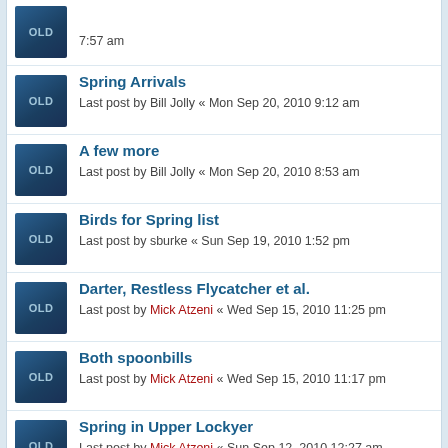7:57 am
Spring Arrivals
Last post by Bill Jolly « Mon Sep 20, 2010 9:12 am
A few more
Last post by Bill Jolly « Mon Sep 20, 2010 8:53 am
Birds for Spring list
Last post by sburke « Sun Sep 19, 2010 1:52 pm
Darter, Restless Flycatcher et al.
Last post by Mick Atzeni « Wed Sep 15, 2010 11:25 pm
Both spoonbills
Last post by Mick Atzeni « Wed Sep 15, 2010 11:17 pm
Spring in Upper Lockyer
Last post by Mick Atzeni « Sun Sep 12, 2010 12:27 am
Replies: 1